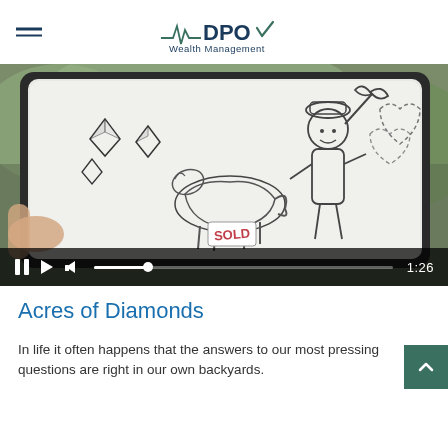DPO Wealth Management
[Figure (screenshot): Video thumbnail showing a tablet screen with hand-drawn animation of diamonds, a person holding a pickaxe, a horse with a SOLD sign, and heart shapes. Video controls visible at bottom showing pause, play, volume icons, a progress bar, and time 1:26.]
Acres of Diamonds
In life it often happens that the answers to our most pressing questions are right in our own backyards.